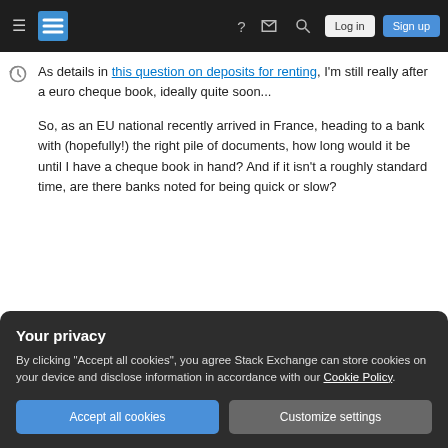Stack Exchange navigation bar with hamburger menu, logo, help, inbox, search, Log in, Sign up buttons
As details in this question on deposits for renting, I'm still really after a euro cheque book, ideally quite soon...
So, as an EU national recently arrived in France, heading to a bank with (hopefully!) the right pile of documents, how long would it be until I have a cheque book in hand? And if it isn't a roughly standard time, are there banks noted for being quick or slow?
Your privacy
By clicking "Accept all cookies", you agree Stack Exchange can store cookies on your device and disclose information in accordance with our Cookie Policy.
Accept all cookies
Customize settings